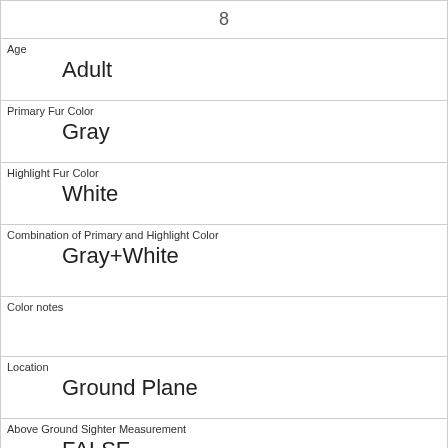| 8 |
| Age | Adult |
| Primary Fur Color | Gray |
| Highlight Fur Color | White |
| Combination of Primary and Highlight Color | Gray+White |
| Color notes |  |
| Location | Ground Plane |
| Above Ground Sighter Measurement | FALSE |
| Specific Location |  |
| Running | 0 |
| Chasing |  |